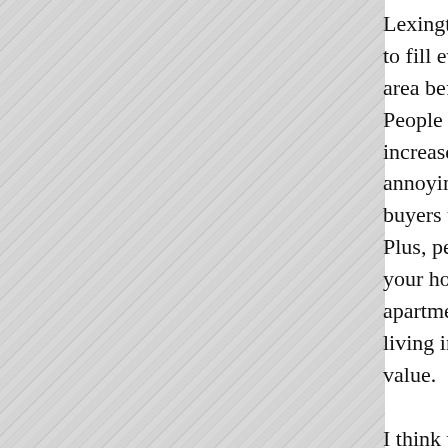Lexington is only going to fill every square foot of area before entertaining. People in Lexington see an increase in traffic in areas annoying compared to new buyers won't know better. Plus, people in Lexington, if your house backs up to apartments or you are living in the apartments value.

I think when it is YOUR any change will be more backing to the golf c a bigger backyard, th and what that vacan